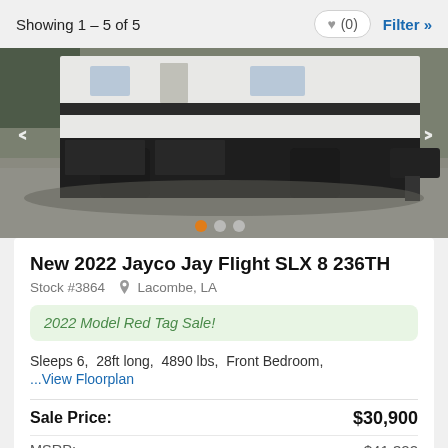Showing 1 – 5 of 5
[Figure (photo): Photo of a 2022 Jayco Jay Flight SLX 8 236TH travel trailer, showing the lower exterior and hitch area with black components on gravel ground. Carousel indicator dots visible at bottom.]
New 2022 Jayco Jay Flight SLX 8 236TH
Stock #3864  Lacombe, LA
2022 Model Red Tag Sale!
Sleeps 6,  28ft long,  4890 lbs,  Front Bedroom,
...View Floorplan
Sale Price:  $30,900
MSRP:  $41,322